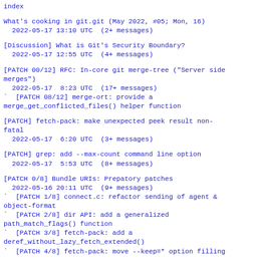index
What's cooking in git.git (May 2022, #05; Mon, 16)
 2022-05-17 13:10 UTC  (2+ messages)
[Discussion] What is Git's Security Boundary?
 2022-05-17 12:55 UTC  (4+ messages)
[PATCH 00/12] RFC: In-core git merge-tree ("Server side merges")
 2022-05-17  8:23 UTC  (17+ messages)
` [PATCH 08/12] merge-ort: provide a merge_get_conflicted_files() helper function
[PATCH] fetch-pack: make unexpected peek result non-fatal
 2022-05-17  6:20 UTC  (3+ messages)
[PATCH] grep: add --max-count command line option
 2022-05-17  5:53 UTC  (8+ messages)
[PATCH 0/8] Bundle URIs: Prepatory patches
 2022-05-16 20:11 UTC  (9+ messages)
` [PATCH 1/8] connect.c: refactor sending of agent & object-format
` [PATCH 2/8] dir API: add a generalized path_match_flags() function
` [PATCH 3/8] fetch-pack: add a deref_without_lazy_fetch_extended()
` [PATCH 4/8] fetch-pack: move --keep=* option filling